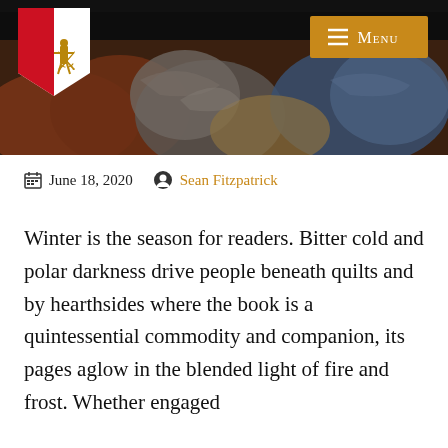[Figure (photo): Dark header with a painting showing figures in muted earth tones, blues and browns; a shield/crest logo on the left and a golden Menu button on the right]
June 18, 2020   Sean Fitzpatrick
Winter is the season for readers. Bitter cold and polar darkness drive people beneath quilts and by hearthsides where the book is a quintessential commodity and companion, its pages aglow in the blended light of fire and frost. Whether engaged